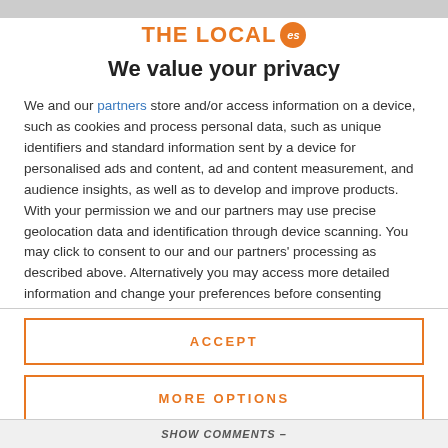[Figure (logo): The Local ES logo with orange text and orange circle badge with 'es']
We value your privacy
We and our partners store and/or access information on a device, such as cookies and process personal data, such as unique identifiers and standard information sent by a device for personalised ads and content, ad and content measurement, and audience insights, as well as to develop and improve products. With your permission we and our partners may use precise geolocation data and identification through device scanning. You may click to consent to our and our partners' processing as described above. Alternatively you may access more detailed information and change your preferences before consenting
ACCEPT
MORE OPTIONS
SHOW COMMENTS –